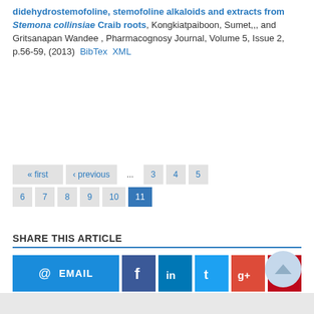didehydrostemofoline, stemofoline alkaloids and extracts from Stemona collinsiae Craib roots, Kongkiatpaiboon, Sumet,,, and Gritsanapan Wandee , Pharmacognosy Journal, Volume 5, Issue 2, p.56-59, (2013)  BibTex  XML
« first
‹ previous
...
3
4
5
6
7
8
9
10
11
SHARE THIS ARTICLE
[Figure (other): Social share buttons: Email, Facebook, LinkedIn, Twitter, Google+, Pinterest]